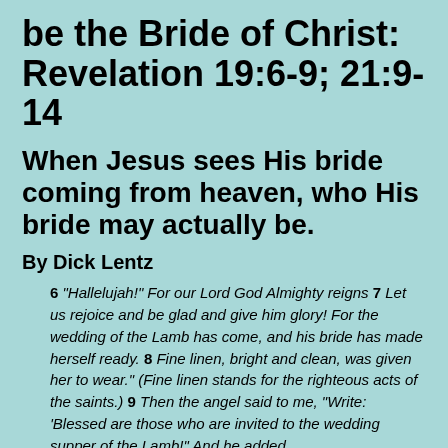be the Bride of Christ: Revelation 19:6-9; 21:9-14
When Jesus sees His bride coming from heaven, who His bride may actually be.
By Dick Lentz
6 “Hallelujah!” For our Lord God Almighty reigns 7 Let us rejoice and be glad and give him glory! For the wedding of the Lamb has come, and his bride has made herself ready. 8 Fine linen, bright and clean, was given her to wear.” (Fine linen stands for the righteous acts of the saints.) 9 Then the angel said to me, “Write: ‘Blessed are those who are invited to the wedding supper of the Lamb!” And he added,